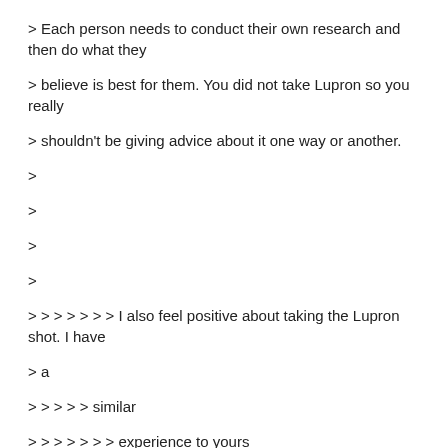> Each person needs to conduct their own research and then do what they
> believe is best for them. You did not take Lupron so you really
> shouldn't be giving advice about it one way or another.
>
>
>
>
> > > > > > > I also feel positive about taking the Lupron shot. I have
> a
> > > > > similar
> > > > > > > experience to yours
> > > > > > >
> > > > > > >